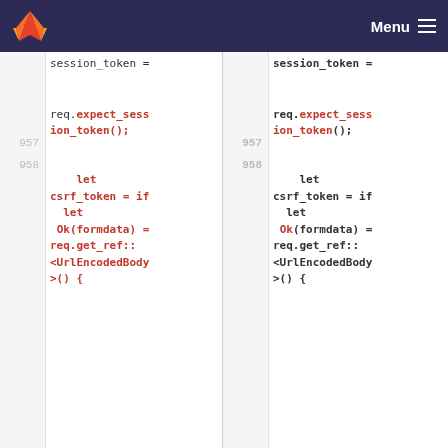GitLab navigation with Menu
[Figure (screenshot): Code diff showing two side-by-side panels of Rust code. Line numbers 957 and 958 visible. Code includes session_token =, req.expect_session_token();, let csrf_token = if let Ok(formdata) = req.get_ref::<UrlEncodedBody>() {. Both panels show identical code.]
Please register or sign in to comment